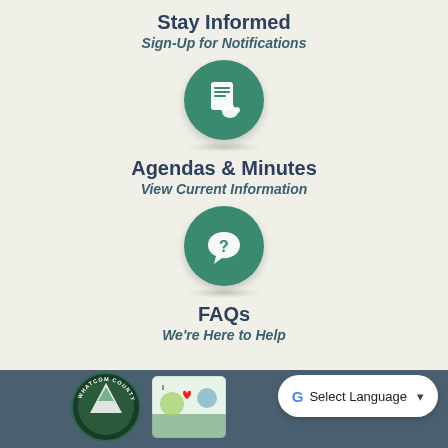Stay Informed
Sign-Up for Notifications
[Figure (illustration): Green circular icon with a tablet/document being signed by a hand, on a light beige background]
Agendas & Minutes
View Current Information
[Figure (illustration): Green circular icon with a question mark inside a speech bubble]
FAQs
We're Here to Help
[Figure (illustration): Whatcom County circular logo/badge in footer area]
[Figure (illustration): Illustrated map/tourism graphic in footer area]
Select Language